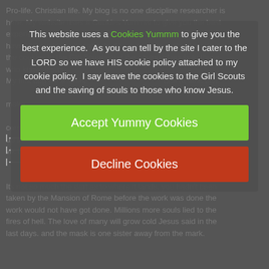Pro-life. Christian life. My blog is no one discipline researcher is here. My website uses a Cookies Yummm to give you the best experience. As you can tell by the site I cater to the LORD so we have HIS cookie policy attached to my cookie policy. I say leave the cookies to the Girl Scouts and the saving of souls to those who know Jesus. My first dog we a steak one at first. LOL make comp up in viz business cards. Its not so much the dart as to where it lands. you hadn't been taken by the Mansion of Rome before the work was done the work would not have got done. Millions more souls lied to the fires of hell. The love of many will grow cold Jesus said in the last days. and the mask is one sister away from the mark.
This website uses a Cookies Yummm to give you the best experience. As you can tell by the site I cater to the LORD so we have HIS cookie policy attached to my cookie policy. I say leave the cookies to the Girl Scouts and the saving of souls to those who know Jesus.
Accept Yummy Cookies
Decline Cookies